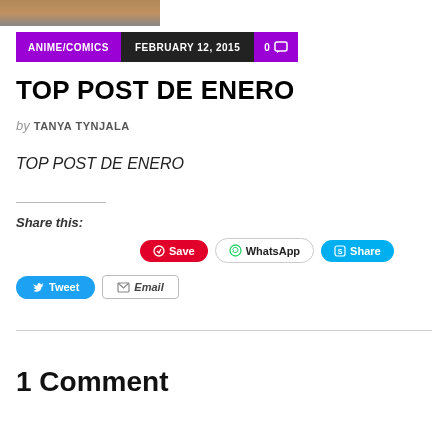[Figure (photo): Partial image of a person at the top of the page]
ANIME/COMICS   FEBRUARY 12, 2015   0 comments
TOP POST DE ENERO
by TANYA TYNJALA
TOP POST DE ENERO
Share this:
Save   WhatsApp   Share   Tweet   Email
1 Comment